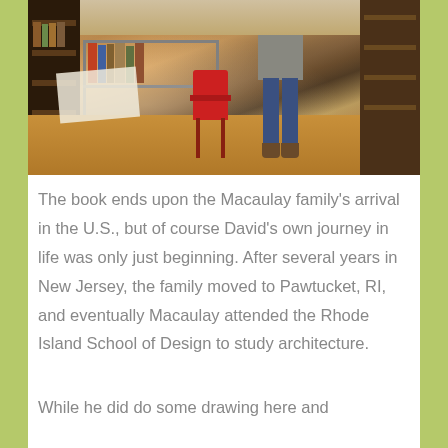[Figure (photo): Interior photo of a workshop or studio space with wooden floors, metal shelving units holding books and materials, a red chair, and a person standing in the background wearing jeans and a grey top.]
The book ends upon the Macaulay family's arrival in the U.S., but of course David's own journey in life was only just beginning. After several years in New Jersey, the family moved to Pawtucket, RI, and eventually Macaulay attended the Rhode Island School of Design to study architecture.
While he did do some drawing here and